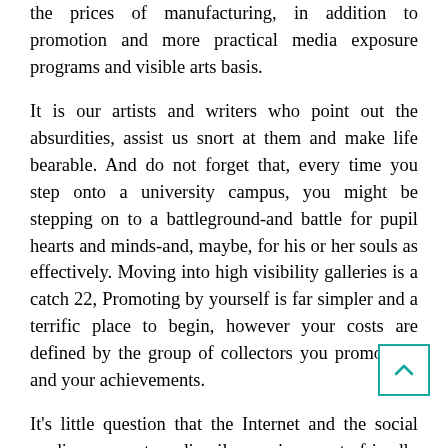the prices of manufacturing, in addition to promotion and more practical media exposure programs and visible arts basis.
It is our artists and writers who point out the absurdities, assist us snort at them and make life bearable. And do not forget that, every time you step onto a university campus, you might be stepping on to a battleground-and battle for pupil hearts and minds-and, maybe, for his or her souls as effectively. Moving into high visibility galleries is a catch 22, Promoting by yourself is far simpler and a terrific place to begin, however your costs are defined by the group of collectors you promote to and your achievements.
It's little question that the Internet and the social media are extraordinarily environment friendly models for mobilization of individuals. There co be a time and place to take heed to music throughout the course of their revision, but not when